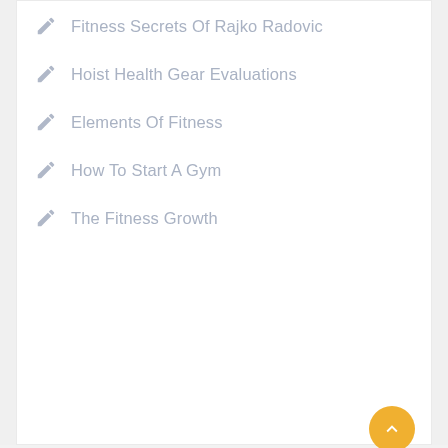Fitness Secrets Of Rajko Radovic
Hoist Health Gear Evaluations
Elements Of Fitness
How To Start A Gym
The Fitness Growth
Archives
Select Month